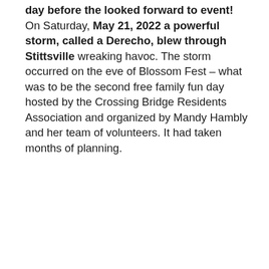day before the looked forward to event! On Saturday, May 21, 2022 a powerful storm, called a Derecho, blew through Stittsville wreaking havoc. The storm occurred on the eve of Blossom Fest – what was to be the second free family fun day hosted by the Crossing Bridge Residents Association and organized by Mandy Hambly and her team of volunteers. It had taken months of planning.